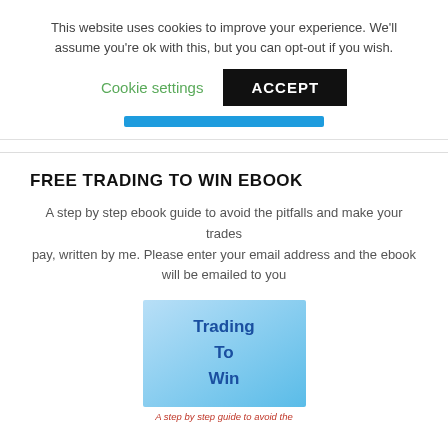This website uses cookies to improve your experience. We'll assume you're ok with this, but you can opt-out if you wish.
Cookie settings   ACCEPT
FREE TRADING TO WIN EBOOK
A step by step ebook guide to avoid the pitfalls and make your trades pay, written by me. Please enter your email address and the ebook will be emailed to you
[Figure (illustration): Book cover showing 'Trading To Win' ebook with a light blue gradient background and blue bold text reading 'Trading To Win']
A step by step guide to avoid the